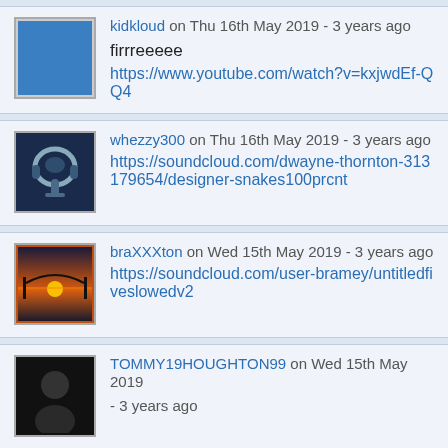kidkloud on Thu 16th May 2019 - 3 years ago
firrreeeee
https://www.youtube.com/watch?v=kxjwdEf-QQ4
whezzy300 on Thu 16th May 2019 - 3 years ago
https://soundcloud.com/dwayne-thornton-313179654/designer-snakes100prcnt
braXXXton on Wed 15th May 2019 - 3 years ago
https://soundcloud.com/user-bramey/untitledfiveslowedv2
TOMMY19HOUGHTON99 on Wed 15th May 2019 - 3 years ago